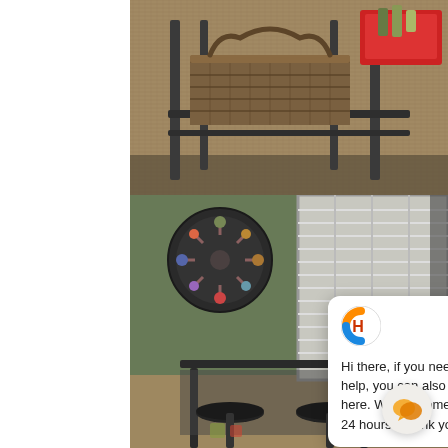[Figure (photo): Close-up photo of a metal and wood coffee table with a woven basket on a woven carpet, red tray with bottles visible in upper right corner.]
[Figure (photo): Room interior with olive/sage green wall, circular metal wall decor, white shuttered window, and a bar-height table with black metal stools.]
Hi there, if you need any support or help, you can also leave a message here. We will come back to you within 24 hours. Thank you!